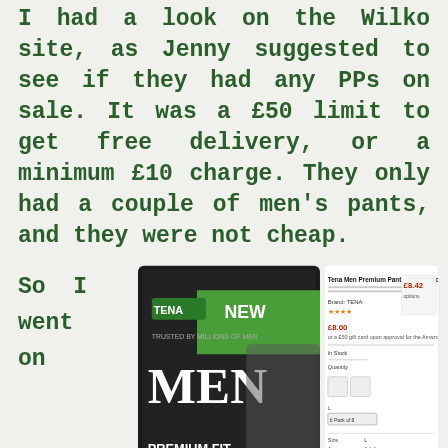I had a look on the Wilko site, as Jenny suggested to see if they had any PPs on sale. It was a £50 limit to get free delivery, or a minimum £10 charge. They only had a couple of men's pants, and they were not cheap.
So I went on
[Figure (screenshot): Amazon product listing screenshot showing Tena Men Premium Fit Level 4 pants, large, pack of 8, alongside a product package image]
Amazon for a look-see what they had. I found these Tena ones, at £1 a disposable pair. I ordered some on Special Price, it said they were a new make. I just hope I've not ordered the